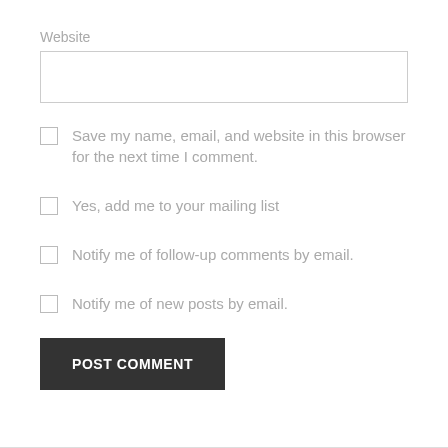Website
[Figure (other): Text input field for Website URL]
Save my name, email, and website in this browser for the next time I comment.
Yes, add me to your mailing list
Notify me of follow-up comments by email.
Notify me of new posts by email.
POST COMMENT